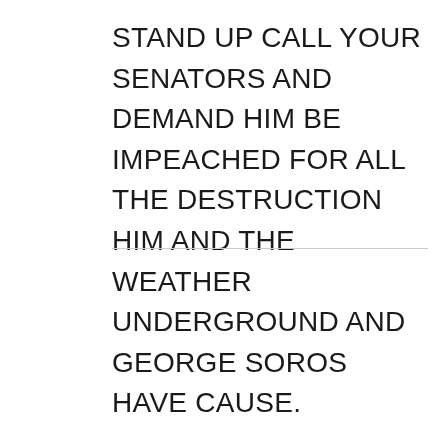STAND UP CALL YOUR SENATORS AND DEMAND HIM BE IMPEACHED FOR ALL THE DESTRUCTION HIM AND THE WEATHER UNDERGROUND AND GEORGE SOROS HAVE CAUSE.